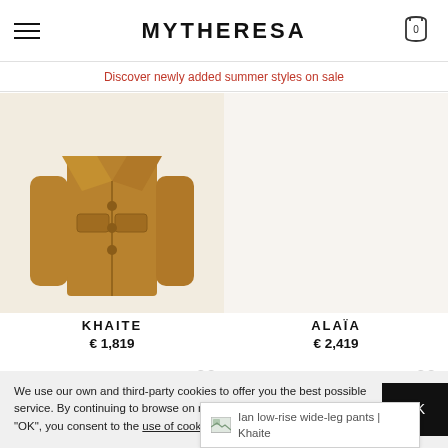MYTHERESA
Discover newly added summer styles on sale
[Figure (photo): Camel/tan double-breasted coat with flap pockets on cream background]
KHAITE
€ 1,819
ALAÏA
€ 2,419
NEW ARRIVAL
Ian low-rise wide-leg pants | Khaite
We use our own and third-party cookies to offer you the best possible service. By continuing to browse on mytheresa.com or clicking on "OK", you consent to the use of cookies.